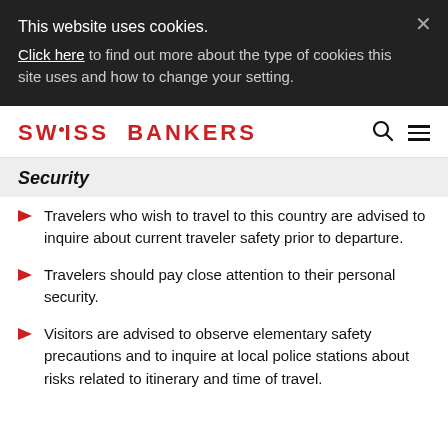This website uses cookies. Click here to find out more about the type of cookies this site uses and how to change your setting.
SWISS BANKERS
Security
Travelers who wish to travel to this country are advised to inquire about current traveler safety prior to departure.
Travelers should pay close attention to their personal security.
Visitors are advised to observe elementary safety precautions and to inquire at local police stations about risks related to itinerary and time of travel.